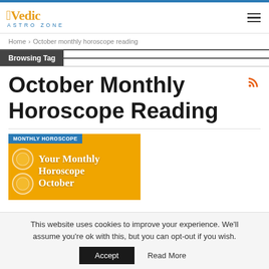Vedic Astro Zone
Home > October monthly horoscope reading
Browsing Tag
October Monthly Horoscope Reading
[Figure (illustration): Monthly Horoscope October card with zodiac symbols on orange background]
This website uses cookies to improve your experience. We'll assume you're ok with this, but you can opt-out if you wish. Accept  Read More